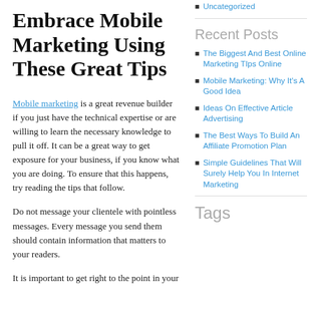Uncategorized
Recent Posts
The Biggest And Best Online Marketing TIps Online
Mobile Marketing: Why It's A Good Idea
Ideas On Effective Article Advertising
The Best Ways To Build An Affiliate Promotion Plan
Simple Guidelines That Will Surely Help You In Internet Marketing
Embrace Mobile Marketing Using These Great Tips
Mobile marketing is a great revenue builder if you just have the technical expertise or are willing to learn the necessary knowledge to pull it off. It can be a great way to get exposure for your business, if you know what you are doing. To ensure that this happens, try reading the tips that follow.
Do not message your clientele with pointless messages. Every message you send them should contain information that matters to your readers.
It is important to get right to the point in your...
Tags